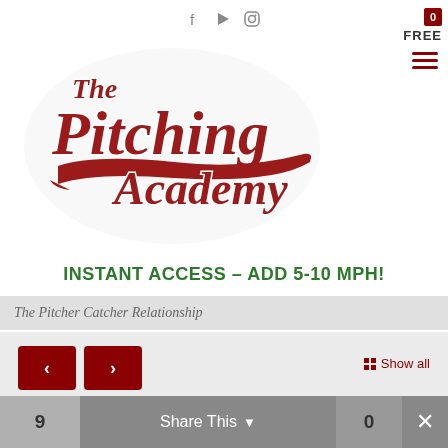[Figure (logo): The Pitching Academy logo — stylized red and white script text on white background]
INSTANT ACCESS – ADD 5-10 MPH!
The Pitcher Catcher Relationship
[Figure (screenshot): Navigation arrows (previous/next) and Show all grid button for course content]
0
9  Share This  0  ×